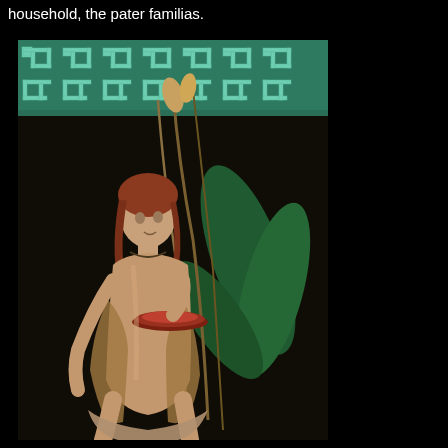household, the pater familias.
[Figure (illustration): Ancient Roman fresco painting showing a semi-nude female figure (likely a Lar or spirit) holding a shallow red offering dish/patera, with flowing drapery, standing against a dark background with green plant motifs and a decorative Greek key (meander) border pattern in teal/green at the top.]